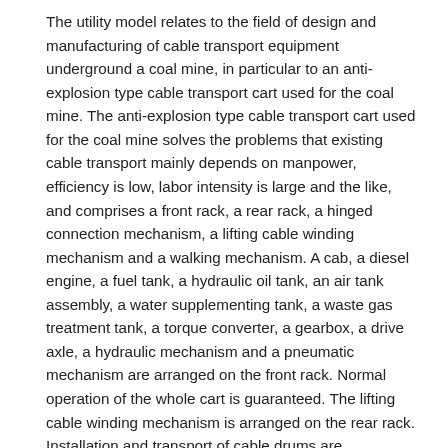The utility model relates to the field of design and manufacturing of cable transport equipment underground a coal mine, in particular to an anti-explosion type cable transport cart used for the coal mine. The anti-explosion type cable transport cart used for the coal mine solves the problems that existing cable transport mainly depends on manpower, efficiency is low, labor intensity is large and the like, and comprises a front rack, a rear rack, a hinged connection mechanism, a lifting cable winding mechanism and a walking mechanism. A cab, a diesel engine, a fuel tank, a hydraulic oil tank, an air tank assembly, a water supplementing tank, a waste gas treatment tank, a torque converter, a gearbox, a drive axle, a hydraulic mechanism and a pneumatic mechanism are arranged on the front rack. Normal operation of the whole cart is guaranteed. The lifting cable winding mechanism is arranged on the rear rack. Installation and transport of cable drums are completed. The anti-explosion type cable transport cart used for the coal mine is suitable for installation of the cable drums with different specifications and models, and transport working of cables under severe environment underground, reasonable in design structure, large in